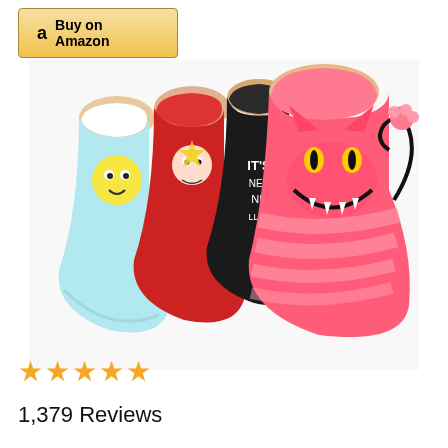[Figure (other): Buy on Amazon button with Amazon logo 'a' icon]
[Figure (photo): Five colorful ankle no-show socks with cartoon characters including Alice in Wonderland characters and Cheshire Cat designs in pink, red, black, white, and teal colors]
[Figure (other): Five gold/yellow star rating icons]
1,379 Reviews